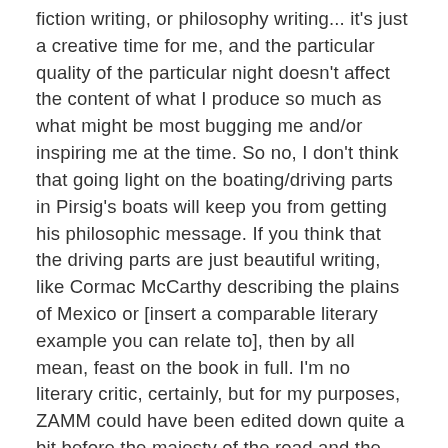fiction writing, or philosophy writing... it's just a creative time for me, and the particular quality of the particular night doesn't affect the content of what I produce so much as what might be most bugging me and/or inspiring me at the time. So no, I don't think that going light on the boating/driving parts in Pirsig's boats will keep you from getting his philosophic message. If you think that the driving parts are just beautiful writing, like Cormac McCarthy describing the plains of Mexico or [insert a comparable literary example you can relate to], then by all mean, feast on the book in full. I'm no literary critic, certainly, but for my purposes, ZAMM could have been edited down quite a bit before the majesty of the road and the towns and all that would have been removed from the experience for me. There is a definite literary effect of sheer length, however; the feeling of a journey taken, with the weariness, isolation, and